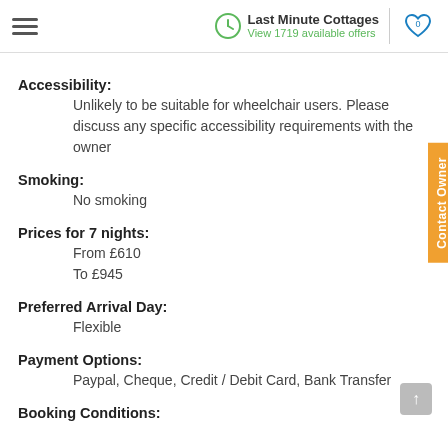Last Minute Cottages | View 1719 available offers
Accessibility:
Unlikely to be suitable for wheelchair users. Please discuss any specific accessibility requirements with the owner
Smoking:
No smoking
Prices for 7 nights:
From £610
To £945
Preferred Arrival Day:
Flexible
Payment Options:
Paypal, Cheque, Credit / Debit Card, Bank Transfer
Booking Conditions: